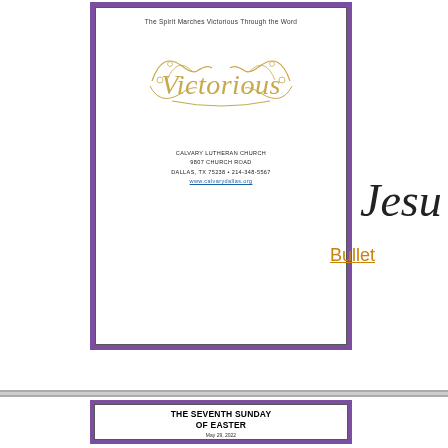[Figure (illustration): Church bulletin cover with purple border, 'Victorious' script logo in gold, subtitle 'The Spirit Marches Victorious Through the Word', and Calvary Lutheran Church address in Dallas TX]
Jesu
Bullet
[Figure (illustration): Church bulletin cover with purple border, 'THE SEVENTH SUNDAY OF EASTER', May 29, 2022, Worship Focus, Victorious... Unity Marches Victorious in Diversity, with gold Victorious script logo]